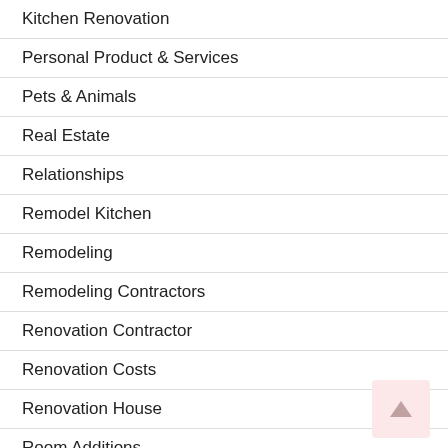Kitchen Renovation
Personal Product & Services
Pets & Animals
Real Estate
Relationships
Remodel Kitchen
Remodeling
Remodeling Contractors
Renovation Contractor
Renovation Costs
Renovation House
Room Additions
Software
Sports & Athletics